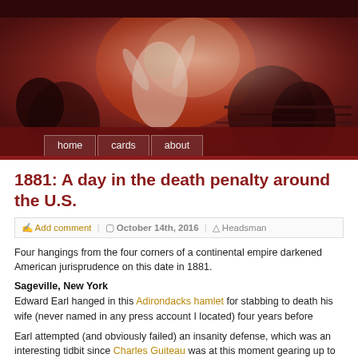[Figure (photo): Header image: a dark reddish-brown historical painting showing figures with raised arms, with navigation bar overlaid at the bottom containing home, cards, about buttons.]
1881: A day in the death penalty around the U.S.
Add comment | October 14th, 2016 | Headsman
Four hangings from the four corners of a continental empire darkened American jurisprudence on this date in 1881.
Sageville, New York
Edward Earl hanged in this Adirondacks hamlet for stabbing to death his wife (never named in any press account I located) four years before
Earl attempted (and obviously failed) an insanity defense, which was an interesting tidbit since Charles Guiteau was at this moment gearing up to do the same after assassinating President Garfield earlier this same year.
Dawson, Georgia
From the New Orleans Times-Picayune, Oct. 15, 1881: